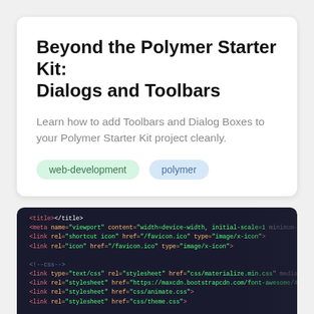Beyond the Polymer Starter Kit: Dialogs and Toolbars
Learn how to add Toolbars and Dialog Boxes to your Polymer Starter Kit project cleanly.
web-development
polymer
[Figure (photo): Dark-background photo of a code editor showing HTML markup with colorful syntax highlighting — tags in red/pink, attributes in orange, strings in green, on a nearly black background. The code shows a typical HTML head section with meta, link elements for stylesheets.]